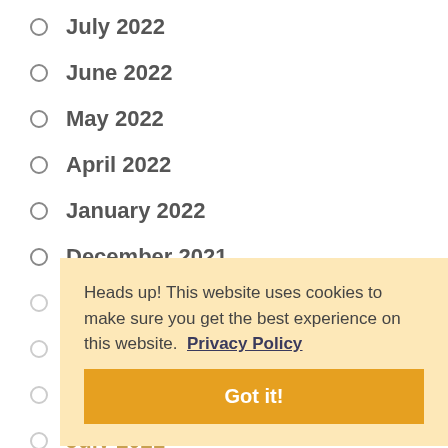July 2022
June 2022
May 2022
April 2022
January 2022
December 2021
November 2021
October 2021
September 2021
July 2021
June 2021
Heads up! This website uses cookies to make sure you get the best experience on this website.  Privacy Policy